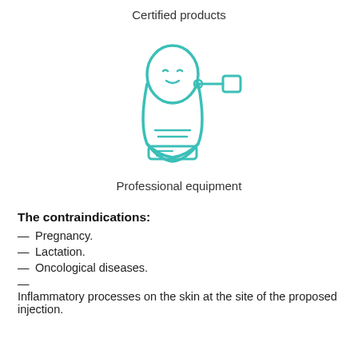Certified products
[Figure (illustration): Line icon of a woman receiving an injection or ear treatment from a device on her right side, drawn in teal/turquoise color]
Professional equipment
The contraindications:
— Pregnancy.
— Lactation.
— Oncological diseases.
— Inflammatory processes on the skin at the site of the proposed injection.